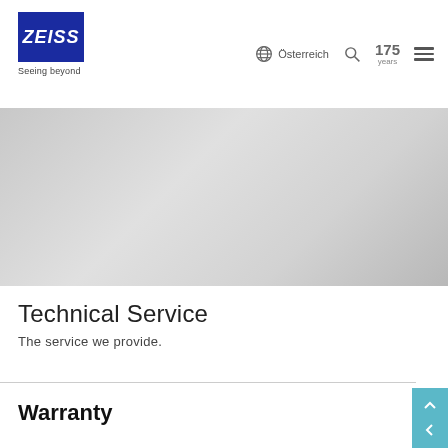ZEISS — Seeing beyond | Österreich | 175 years
[Figure (illustration): Gray gradient hero banner image placeholder]
Technical Service
The service we provide.
Warranty